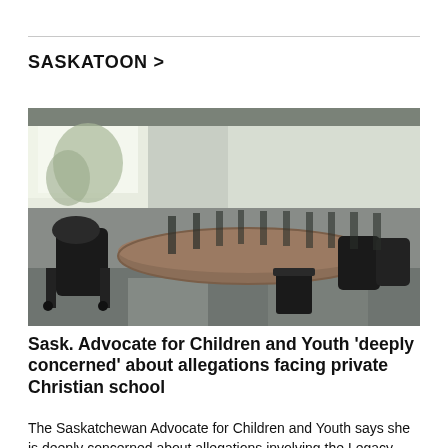SASKATOON >
[Figure (photo): Empty classroom with round desk/table and black chairs, bottles or lab equipment visible in the background, blurred interior]
Sask. Advocate for Children and Youth 'deeply concerned' about allegations facing private Christian school
The Saskatchewan Advocate for Children and Youth says she is deeply concerned about allegations involving the Legacy